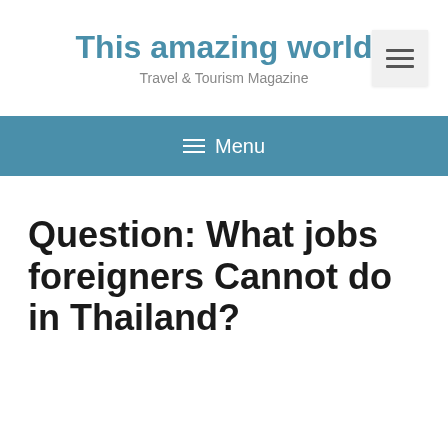This amazing world
Travel & Tourism Magazine
Question: What jobs foreigners Cannot do in Thailand?